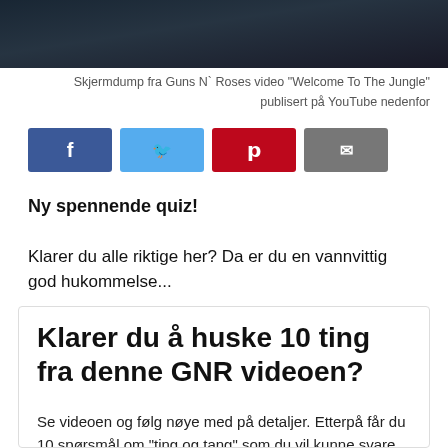[Figure (photo): Dark photo bar at the top of the page, screenshot from Guns N' Roses music video]
Skjermdump fra Guns N` Roses video "Welcome To The Jungle" publisert på YouTube nedenfor
[Figure (infographic): Social share buttons: Facebook (blue), Twitter (light blue), Pinterest (red), Email (grey)]
Ny spennende quiz!
Klarer du alle riktige her? Da er du en vannvittig god hukommelse...
Klarer du å huske 10 ting fra denne GNR videoen?
Se videoen og følg nøye med på detaljer. Etterpå får du 10 spørsmål om "ting og tang" som du vil kunne svare riktig på dersom du har klart å legge merke til de riktige tingone :)